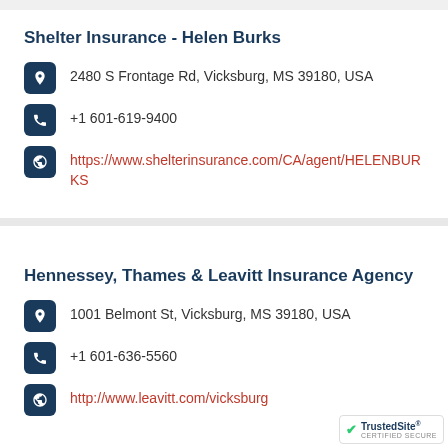Shelter Insurance - Helen Burks
2480 S Frontage Rd, Vicksburg, MS 39180, USA
+1 601-619-9400
https://www.shelterinsurance.com/CA/agent/HELENBURKS
Hennessey, Thames & Leavitt Insurance Agency
1001 Belmont St, Vicksburg, MS 39180, USA
+1 601-636-5560
http://www.leavitt.com/vicksburg